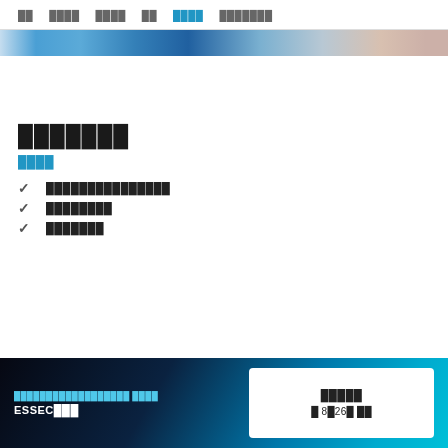██  ████  ████  ██  ████  ███████
[Figure (photo): Horizontal image strip showing people, likely students or professionals, cropped banner style]
███████
████
███████████████
████████
███████
██████████████████ ████ ESSEC███  |  █████  █ 8█26█ ██